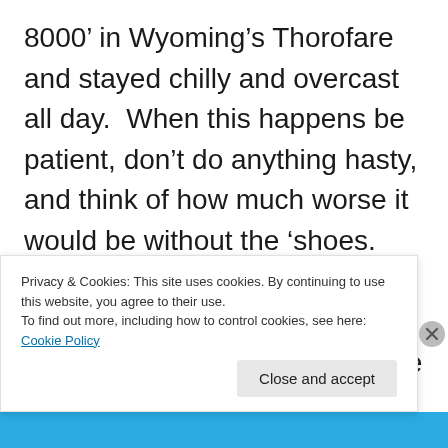8000’ in Wyoming’s Thorofare and stayed chilly and overcast all day.  When this happens be patient, don’t do anything hasty, and think of how much worse it would be without the ‘shoes.  Snowshoes usually are the ticket for spring trips, especially the ones with a fairly aggressive steel crampon.  While the snow may start out mushy, inevitably you’ll get a clear day with a cold night and hard freeze, and you’ll want good grip on steeper slopes.  Some trips under these
Privacy & Cookies: This site uses cookies. By continuing to use this website, you agree to their use.
To find out more, including how to control cookies, see here: Cookie Policy